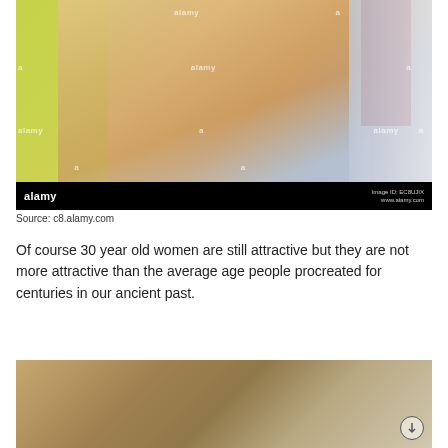[Figure (photo): Alamy stock photo of a young blonde woman smiling, wearing a blue top, leaning against a green wall. Black bar at bottom shows Alamy logo and image ID.]
Source: c8.alamy.com
Of course 30 year old women are still attractive but they are not more attractive than the average age people procreated for centuries in our ancient past.
[Figure (photo): Partial view of another Alamy stock photo showing a person, cropped at the bottom of the page.]